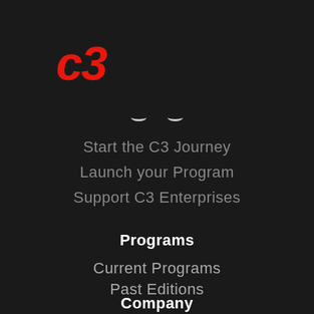[Figure (logo): C3 logo in red italic bold font]
Start the C3 Journey
Launch your Program
Support C3 Enterprises
Programs
Current Programs
Past Editions
Company
About
C3 Awards